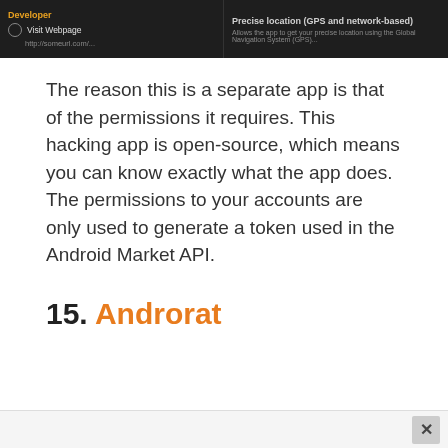[Figure (screenshot): Two dark-themed Android screenshots side by side. Left: shows 'Developer' label in orange and 'Visit Webpage' option with a globe icon. Right: shows 'Precise location (GPS and network-based)' permission text in white/gray on dark background.]
The reason this is a separate app is that of the permissions it requires. This hacking app is open-source, which means you can know exactly what the app does. The permissions to your accounts are only used to generate a token used in the Android Market API.
15. Androrat